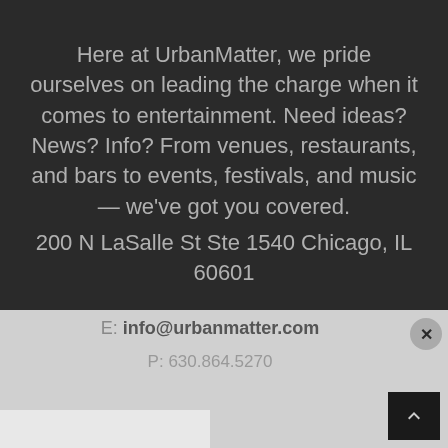Here at UrbanMatter, we pride ourselves on leading the charge when it comes to entertainment. Need ideas? News? Info? From venues, restaurants, and bars to events, festivals, and music – we've got you covered.
200 N LaSalle St Ste 1540 Chicago, IL 60601
E: info@urbanmatter.com
P: 630.864.5270